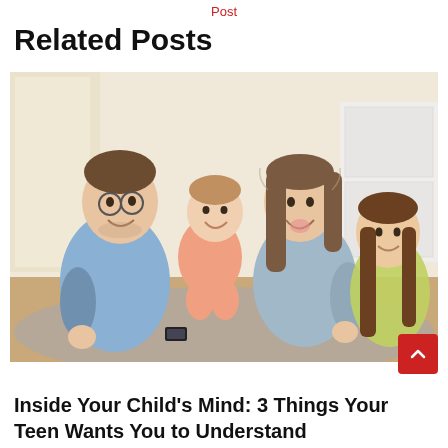Post
Related Posts
[Figure (photo): A happy family — a father wearing glasses and a blue shirt, a mother with brown hair wearing a light blue shirt, and two young daughters — sitting on a carpet on the floor laughing and playing together indoors.]
Inside Your Child’s Mind: 3 Things Your Teen Wants You to Understand